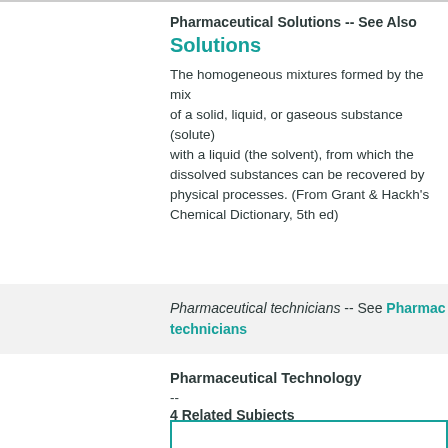Pharmaceutical Solutions -- See Also
Solutions
The homogeneous mixtures formed by the mix of a solid, liquid, or gaseous substance (solute) with a liquid (the solvent), from which the dissolved substances can be recovered by physical processes. (From Grant & Hackh's Chemical Dictionary, 5th ed)
Pharmaceutical technicians -- See Pharmaceutical technicians
Pharmaceutical Technology
--
4 Related Subjects